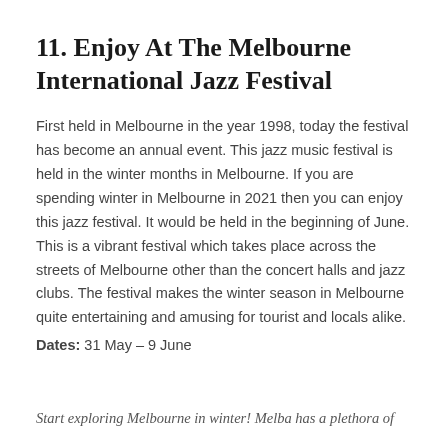11. Enjoy At The Melbourne International Jazz Festival
First held in Melbourne in the year 1998, today the festival has become an annual event. This jazz music festival is held in the winter months in Melbourne. If you are spending winter in Melbourne in 2021 then you can enjoy this jazz festival. It would be held in the beginning of June. This is a vibrant festival which takes place across the streets of Melbourne other than the concert halls and jazz clubs. The festival makes the winter season in Melbourne quite entertaining and amusing for tourist and locals alike.
Dates: 31 May – 9 June
Start exploring Melbourne in winter! Melba has a plethora of